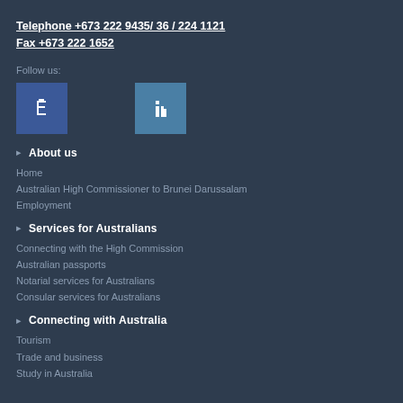Telephone +673 222 9435/ 36 / 224 1121
Fax +673 222 1652
Follow us:
[Figure (logo): Facebook social media icon button (blue square with 'f' symbol)]
[Figure (logo): LinkedIn social media icon button (steel blue square with 'in' symbol)]
About us
Home
Australian High Commissioner to Brunei Darussalam
Employment
Services for Australians
Connecting with the High Commission
Australian passports
Notarial services for Australians
Consular services for Australians
Connecting with Australia
Tourism
Trade and business
Study in Australia